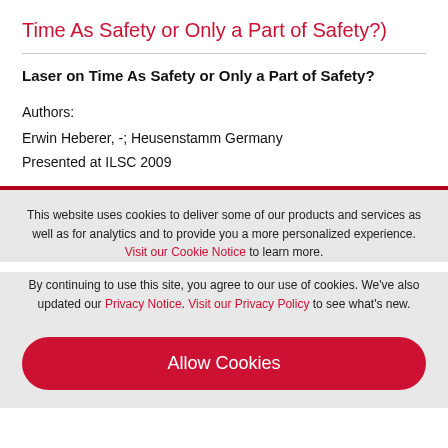Time As Safety or Only a Part of Safety?)
Laser on Time As Safety or Only a Part of Safety?
Authors:
Erwin Heberer, -; Heusenstamm Germany
Presented at ILSC 2009
This website uses cookies to deliver some of our products and services as well as for analytics and to provide you a more personalized experience. Visit our Cookie Notice to learn more.
By continuing to use this site, you agree to our use of cookies. We've also updated our Privacy Notice. Visit our Privacy Policy to see what's new.
Allow Cookies